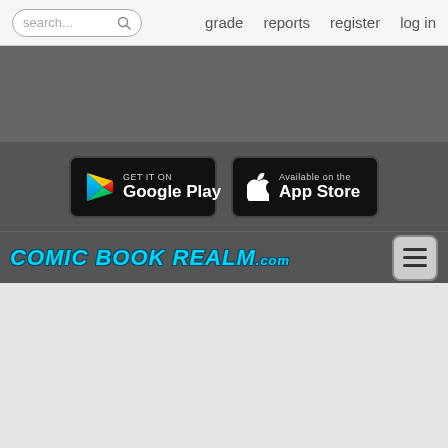search... | grade | reports | register | log in
[Figure (screenshot): Gray advertisement banner area]
[Figure (screenshot): App store download buttons: GET IT ON Google Play and Available on the App Store]
[Figure (logo): Comic Book Realm .com logo with hamburger menu button]